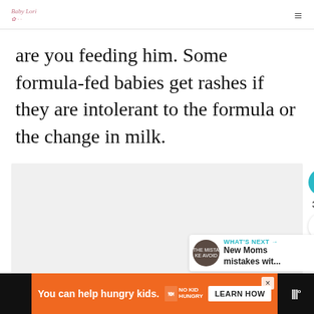Baby Lori · logo | hamburger menu
are you feeding him. Some formula-fed babies get rashes if they are intolerant to the formula or the change in milk.
[Figure (screenshot): Gray placeholder image area with social sidebar showing heart icon, 3.8K count, share button, and a 'What's Next' widget showing 'New Moms mistakes wit...']
[Figure (infographic): Orange advertisement banner: 'You can help hungry kids.' with No Kid Hungry logo and 'Learn How' button. Black sections on sides.]